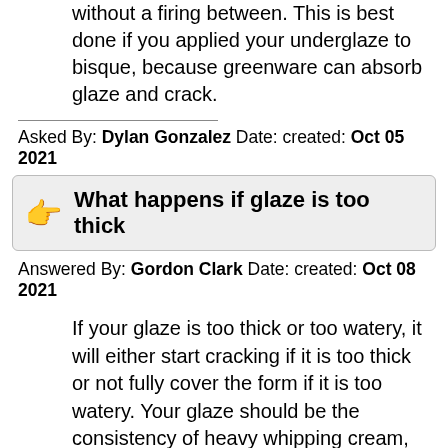without a firing between. This is best done if you applied your underglaze to bisque, because greenware can absorb glaze and crack.
Asked By: Dylan Gonzalez Date: created: Oct 05 2021
What happens if glaze is too thick
Answered By: Gordon Clark Date: created: Oct 08 2021
If your glaze is too thick or too watery, it will either start cracking if it is too thick or not fully cover the form if it is too watery. Your glaze should be the consistency of heavy whipping cream, thick but not too viscous.
Asked By: Martin Foster Date: created: Jan 15 2022
Can you glaze pottery twice